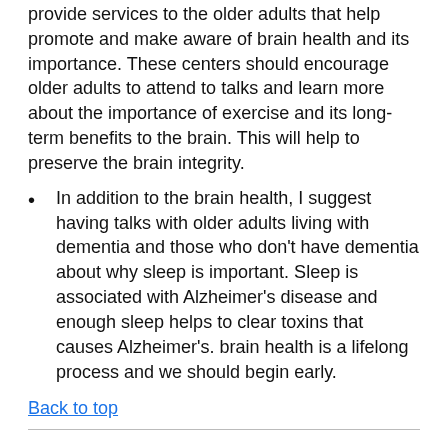provide services to the older adults that help promote and make aware of brain health and its importance. These centers should encourage older adults to attend to talks and learn more about the importance of exercise and its long-term benefits to the brain. This will help to preserve the brain integrity.
In addition to the brain health, I suggest having talks with older adults living with dementia and those who don't have dementia about why sleep is important. Sleep is associated with Alzheimer's disease and enough sleep helps to clear toxins that causes Alzheimer's. brain health is a lifelong process and we should begin early.
Back to top
S. Choe | 4-17-2022